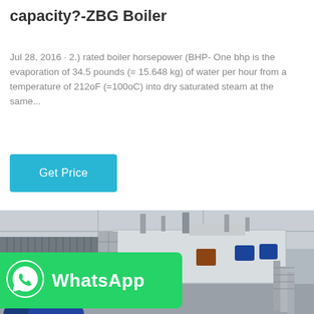capacity?-ZBG Boiler
Jul 28, 2016 · 2.) rated boiler horsepower (BHP- One bhp is the evaporation of 34.5 pounds (= 15.648 kg) of water per hour from a temperature of 212oF (=100oC) into dry saturated steam at the same...
[Figure (other): Button: Get Price (cyan/blue button)]
[Figure (photo): Industrial boiler unit installed in a facility, ZBG brand, large white/grey enclosure with pipes and blue motors, photographed from an angle showing the full length of the unit.]
[Figure (logo): WhatsApp logo and label on green background - overlay on the bottom left of the boiler photo]